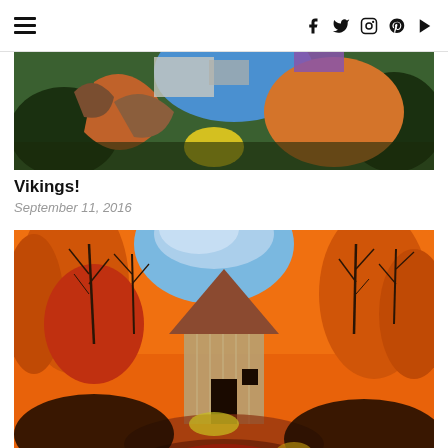Navigation and social icons header
[Figure (photo): Colorful children's art collage with abstract shapes in green, blue, orange, and brown on a dark background]
Vikings!
September 11, 2016
[Figure (photo): Children's painting of a wooden tower or stave structure amid orange autumn trees with bare branches, painted in warm orange, brown, and blue tones]